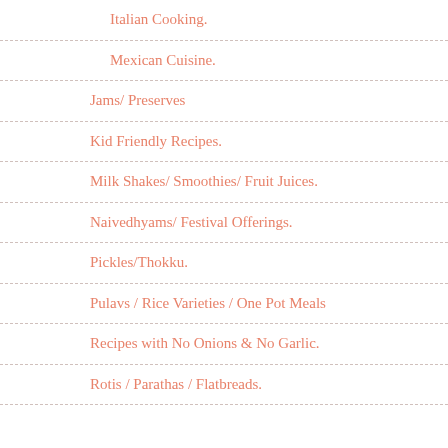Italian Cooking.
Mexican Cuisine.
Jams/ Preserves
Kid Friendly Recipes.
Milk Shakes/ Smoothies/ Fruit Juices.
Naivedhyams/ Festival Offerings.
Pickles/Thokku.
Pulavs / Rice Varieties / One Pot Meals
Recipes with No Onions & No Garlic.
Rotis / Parathas / Flatbreads.